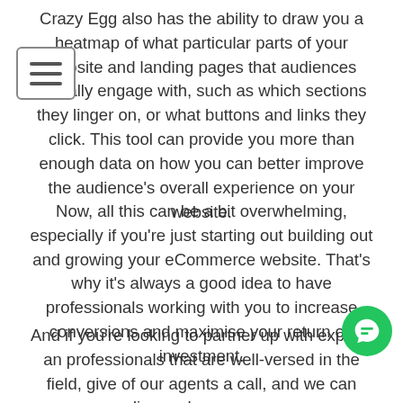Crazy Egg also has the ability to draw you a heatmap of what particular parts of your website and landing pages that audiences actually engage with, such as which sections they linger on, or what buttons and links they click. This tool can provide you more than enough data on how you can better improve the audience's overall experience on your website.
Now, all this can be a bit overwhelming, especially if you're just starting out building out and growing your eCommerce website. That's why it's always a good idea to have professionals working with you to increase conversions and maximise your return on investment.
And if you're looking to partner up with experts and professionals that are well-versed in the field, give one of our agents a call, and we can discuss how we can best...